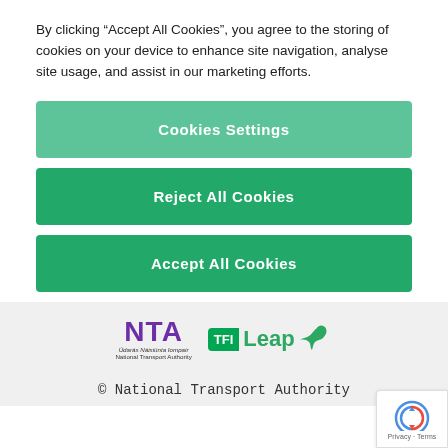By clicking “Accept All Cookies”, you agree to the storing of cookies on your device to enhance site navigation, analyse site usage, and assist in our marketing efforts.
Cookies Settings
Reject All Cookies
Accept All Cookies
[Figure (logo): NTA (Údarás Náisiúnta Iompair / National Transport Authority) logo alongside TFI Leap card logo with a bird silhouette]
© National Transport Authority